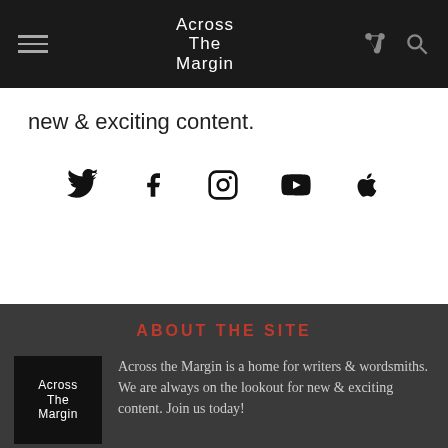Across The Margin
new & exciting content.
[Figure (infographic): Social media icons row: Twitter, Facebook, Instagram, YouTube, Apple]
ABOUT THE SITE
[Figure (logo): Across The Margin logo — white text on black square]
Across the Margin is a home for writers & wordsmiths. We are always on the lookout for new & exciting content. Join us today!
[Figure (infographic): Social media icons row (dark background): Twitter, Facebook, Instagram, YouTube, Apple]